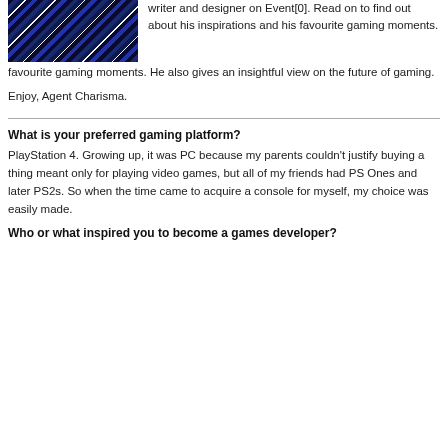[Figure (photo): A photo of a person wearing a blue plaid/tartan shirt]
writer and designer on Event[0]. Read on to find out about his inspirations and his favourite gaming moments. He also gives an insightful view on the future of gaming.
Enjoy, Agent Charisma.
What is your preferred gaming platform?
PlayStation 4. Growing up, it was PC because my parents couldn't justify buying a thing meant only for playing video games, but all of my friends had PS Ones and later PS2s. So when the time came to acquire a console for myself, my choice was easily made.
Who or what inspired you to become a games developer?